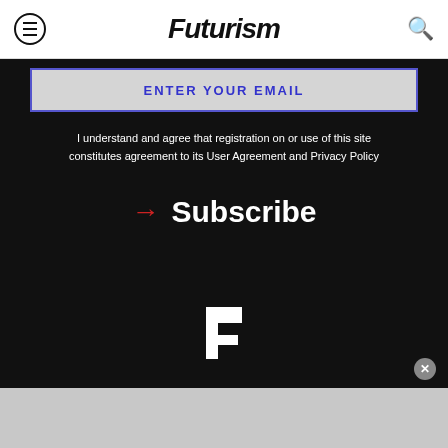Futurism
ENTER YOUR EMAIL
I understand and agree that registration on or use of this site constitutes agreement to its User Agreement and Privacy Policy
→ Subscribe
[Figure (logo): Futurism F logo in white on black background]